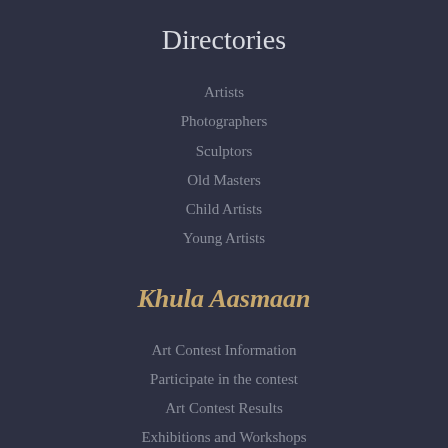Directories
Artists
Photographers
Sculptors
Old Masters
Child Artists
Young Artists
Khula Aasmaan
Art Contest Information
Participate in the contest
Art Contest Results
Exhibitions and Workshops
Art Tutorial Videos
Art on Postcard
General